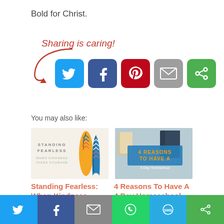Bold for Christ.
[Figure (infographic): Sharing is caring! text with arrow and social share buttons: Twitter, Facebook, Pinterest, Email, More]
You may also like:
[Figure (photo): Standing Fearless: When Kindness Takes Courage book cover with feather illustrations]
[Figure (photo): 4 Reasons To Have A 4 Day Homeschool Week - image with text overlay]
Standing Fearless: When Kindness Takes
4 Reasons To Have A 4 Day Homeschool Week
[Figure (infographic): Bottom social share bar with Twitter, Facebook, Email, WhatsApp, SMS, More buttons]